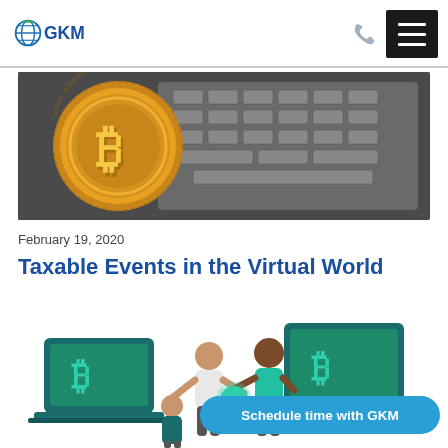GKM
[Figure (photo): Gold Bitcoin coin resting on a laptop keyboard, close-up photograph]
February 19, 2020
Taxable Events in the Virtual World
[Figure (illustration): Isometric illustration of two people exchanging Bitcoin between two open laptops displaying the Bitcoin symbol]
Schedule time with GKM